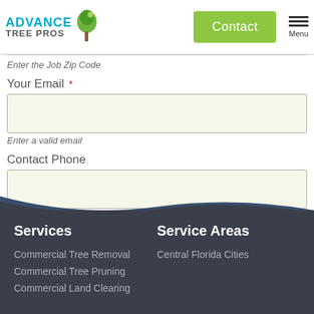[Figure (logo): Advance Tree Pros logo with tree icon and teal/blue text]
Enter the Job Zip Code
Your Email *
Enter a valid email
Contact Phone
Enter a Contact Phone
Submit
Services
Service Areas
Commercial Tree Removal
Central Florida Cities
Commercial Tree Pruning
Commercial Land Clearing